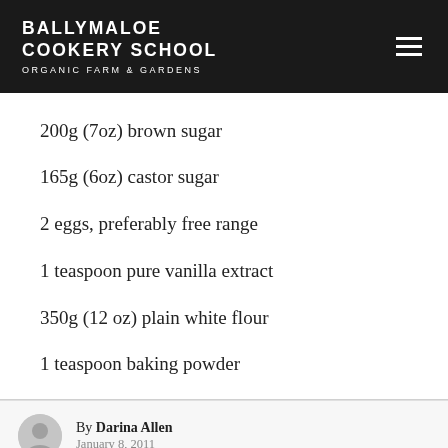BALLYMALOE COOKERY SCHOOL ORGANIC FARM & GARDENS
200g (7oz) brown sugar
165g (6oz) castor sugar
2 eggs, preferably free range
1 teaspoon pure vanilla extract
350g (12 oz) plain white flour
1 teaspoon baking powder
By Darina Allen January 8, 2011